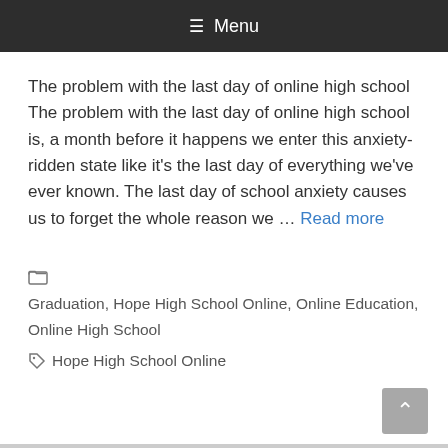≡ Menu
The problem with the last day of online high school The problem with the last day of online high school is, a month before it happens we enter this anxiety-ridden state like it's the last day of everything we've ever known. The last day of school anxiety causes us to forget the whole reason we … Read more
Categories: Graduation, Hope High School Online, Online Education, Online High School
Tags: Hope High School Online